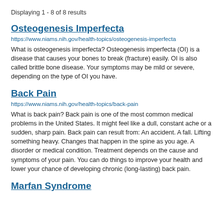Displaying 1 - 8 of 8 results
Osteogenesis Imperfecta
https://www.niams.nih.gov/health-topics/osteogenesis-imperfecta
What is osteogenesis imperfecta? Osteogenesis imperfecta (OI) is a disease that causes your bones to break (fracture) easily. OI is also called brittle bone disease. Your symptoms may be mild or severe, depending on the type of OI you have.
Back Pain
https://www.niams.nih.gov/health-topics/back-pain
What is back pain? Back pain is one of the most common medical problems in the United States. It might feel like a dull, constant ache or a sudden, sharp pain. Back pain can result from: An accident. A fall. Lifting something heavy. Changes that happen in the spine as you age. A disorder or medical condition. Treatment depends on the cause and symptoms of your pain. You can do things to improve your health and lower your chance of developing chronic (long-lasting) back pain.
Marfan Syndrome